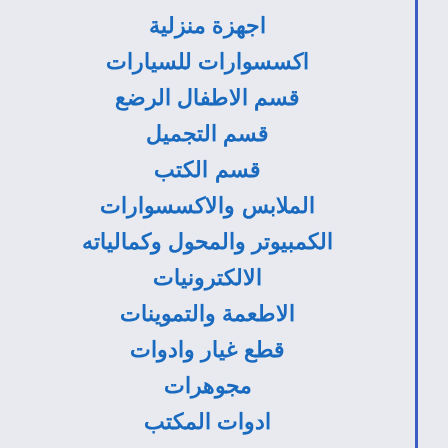اجهزة منزلية
اكسسوارات للسيارات
قسم الاطفال الرضع
قسم التجميل
قسم الكتب
الملابس والاكسسوارات
الكمبيوتر والمحول وكمالياته
الالكترونيات
الاطعمة والتموينات
قطع غيار وادوات
مجوهرات
ادوات المكتب